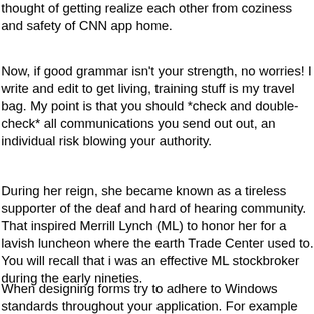thought of getting realize each other from coziness and safety of CNN app home.
Now, if good grammar isn’t your strength, no worries! I write and edit to get living, training stuff is my travel bag. My point is that you should *check and double-check* all communications you send out out, an individual risk blowing your authority.
During her reign, she became known as a tireless supporter of the deaf and hard of hearing community. That inspired Merrill Lynch (ML) to honor her for a lavish luncheon where the earth Trade Center used to. You will recall that i was an effective ML stockbroker during the early nineties.
When designing forms try to adhere to Windows standards throughout your application. For example